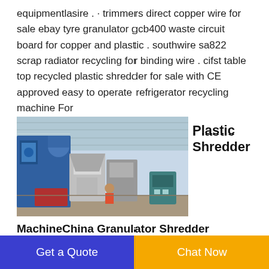equipmentlasire . · trimmers direct copper wire for sale ebay tyre granulator gcb400 waste circuit board for copper and plastic . southwire sa822 scrap radiator recycling for binding wire . cifst table top recycled plastic shredder for sale with CE approved easy to operate refrigerator recycling machine For
[Figure (photo): Photo of industrial plastic shredder/granulator machinery inside a large warehouse facility. Blue machinery on left, silver/metallic equipment in center, worker visible, teal control panel on right.]
Plastic Shredder
MachineChina Granulator Shredder
The completely closed welded steel housing increases the